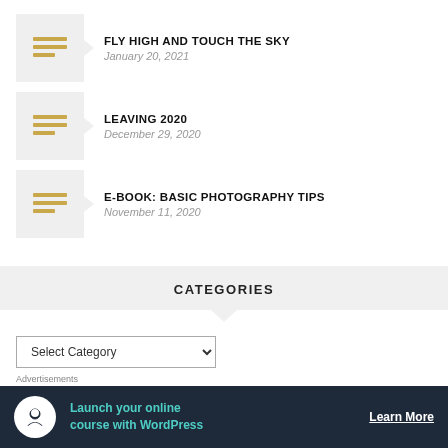FLY HIGH AND TOUCH THE SKY — January 20, 2021
LEAVING 2020 — December 29, 2020
E-BOOK: BASIC PHOTOGRAPHY TIPS — November 11, 2020
CATEGORIES
Select Category
ARCHIVES
Advertisements
Launch your online course with WordPress
Learn More